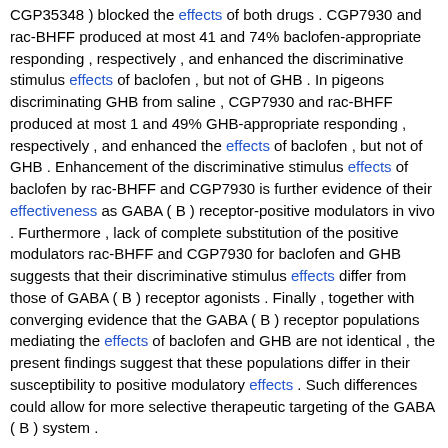CGP35348 ) blocked the effects of both drugs . CGP7930 and rac-BHFF produced at most 41 and 74% baclofen-appropriate responding , respectively , and enhanced the discriminative stimulus effects of baclofen , but not of GHB . In pigeons discriminating GHB from saline , CGP7930 and rac-BHFF produced at most 1 and 49% GHB-appropriate responding , respectively , and enhanced the effects of baclofen , but not of GHB . Enhancement of the discriminative stimulus effects of baclofen by rac-BHFF and CGP7930 is further evidence of their effectiveness as GABA ( B ) receptor-positive modulators in vivo . Furthermore , lack of complete substitution of the positive modulators rac-BHFF and CGP7930 for baclofen and GHB suggests that their discriminative stimulus effects differ from those of GABA ( B ) receptor agonists . Finally , together with converging evidence that the GABA ( B ) receptor populations mediating the effects of baclofen and GHB are not identical , the present findings suggest that these populations differ in their susceptibility to positive modulatory effects . Such differences could allow for more selective therapeutic targeting of the GABA ( B ) system .
Matching Sentences:
[ Sen. 7, subscore: 2.00 ]: This study further examined the in vivo properties of the GABA ( B ) receptor-positive modulators 2 , 6-di-tert-butyl-4- ( 3-hydroxy-2 , 2-dimethylpropyl ) phenol ( CGP7930 ) and ( R , S ) -5 , 7-di-tert-butyl-3-hydroxy-3-trifluoromethyl-3H-benzofuran-2-one ( rac-BHFF ) . In pigeons discriminating baclofen from saline , gamma-hydroxybutyrate ( GHB ) produced 100% baclofen-appropriate responding , and the GABA ( B ) antagonist 3-aminopropyl ( dimethoxymethyl ) phosphinic acid ( CGP35348 ) blocked the effects of both drugs . CGP7930 and rac-BHFF produced at most 41 and 74% baclofen-appropriate responding , respectively , and enhanced the discriminative stimulus effects of baclofen , but not of GHB . In pigeons discriminating GHB from saline , CGP7930 and rac-BHFF produced at